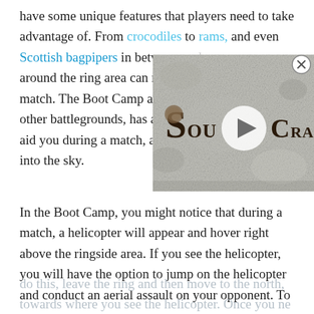have some unique features that players need to take advantage of. From crocodiles to rams, and even Scottish bagpipers in betwe[en…] around the ring area can ma[ke a difference in a] match. The Boot Camp area[, like] other battlegrounds, has a [unique feature to] aid you during a match, and this one will take up into the sky.
[Figure (logo): Overlay image showing a video thumbnail with medieval-style text reading 'SoulFrame' with a play button icon, on a stone/gray textured background. A close (X) button appears at the top right corner.]
In the Boot Camp, you might notice that during a match, a helicopter will appear and hover right above the ringside area. If you see the helicopter, you will have the option to jump on the helicopter and conduct an aerial assault on your opponent. To do this, leave the ring and then move to the north, towards where you see the helicopter. Once you ne[ed…]